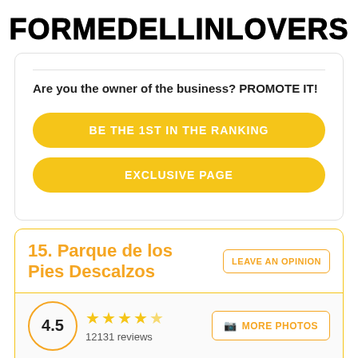FORMEDELLINLOVERS
Are you the owner of the business? PROMOTE IT!
BE THE 1ST IN THE RANKING
EXCLUSIVE PAGE
15. Parque de los Pies Descalzos
LEAVE AN OPINION
4.5
12131 reviews
MORE PHOTOS